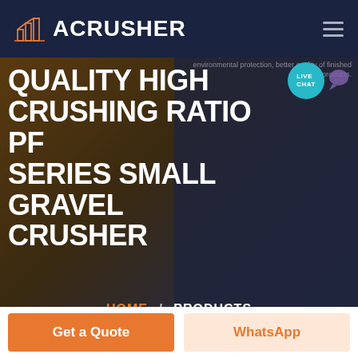ACRUSHER
QUALITY HIGH CRUSHING RATIO PF SERIES SMALL GRAVEL CRUSHER
MRN Pendulum Roller Grinding Mill
Lower operational & maintenance costs, excellent environmental protection, better quality of finished products.
LIVE CHAT
HOME / PRODUCTS
Get a Quote
WhatsApp